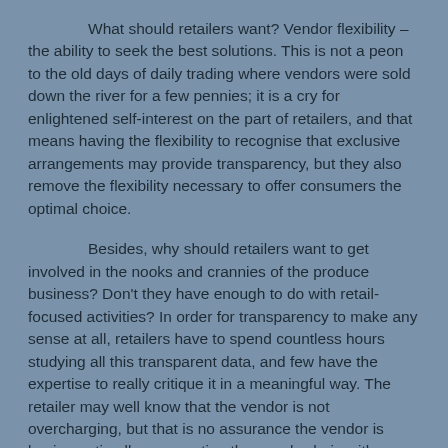What should retailers want? Vendor flexibility – the ability to seek the best solutions. This is not a peon to the old days of daily trading where vendors were sold down the river for a few pennies; it is a cry for enlightened self-interest on the part of retailers, and that means having the flexibility to recognise that exclusive arrangements may provide transparency, but they also remove the flexibility necessary to offer consumers the optimal choice.
Besides, why should retailers want to get involved in the nooks and crannies of the produce business? Don't they have enough to do with retail-focused activities? In order for transparency to make any sense at all, retailers have to spend countless hours studying all this transparent data, and few have the expertise to really critique it in a meaningful way. The retailer may well know that the vendor is not overcharging, but that is no assurance the vendor is buying optimally or operating the supply chain with maximum efficiency, much less coming up with new innovations to